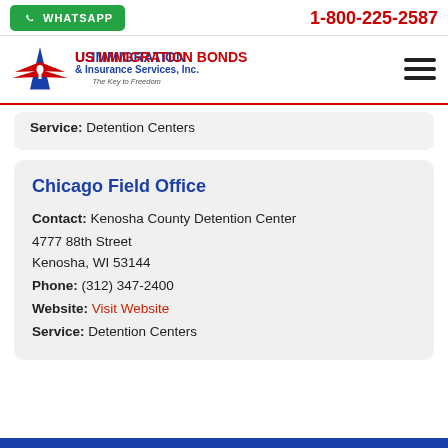WHATSAPP   1-800-225-2587
[Figure (logo): US Immigration Bonds & Insurance Services, Inc. logo with eagle and tagline 'The Key to Freedom']
Service: Detention Centers
Chicago Field Office
Contact: Kenosha County Detention Center
4777 88th Street
Kenosha, WI 53144
Phone: (312) 347-2400
Website: Visit Website
Service: Detention Centers